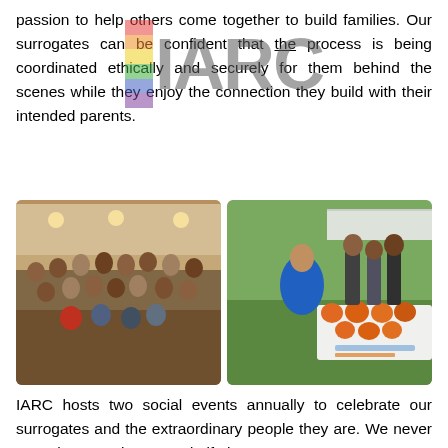passion to help others come together to build families. Our surrogates can be confident that the process is being coordinated ethically and securely for them behind the scenes while they enjoy the connection they build with their intended parents.
[Figure (photo): Two photographs side by side: left shows a large group of people posing indoors in a banquet hall setting; right shows children and adults at an outdoor fall festival with pumpkins on a table.]
IARC hosts two social events annually to celebrate our surrogates and the extraordinary people they are. We never want the commitment and gift they are